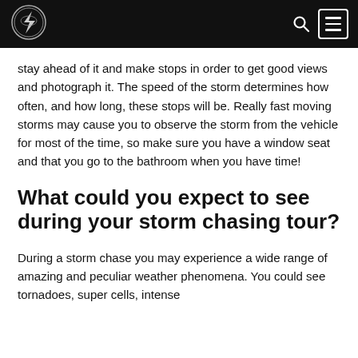[Logo] [Search icon] [Menu button]
stay ahead of it and make stops in order to get good views and photograph it. The speed of the storm determines how often, and how long, these stops will be. Really fast moving storms may cause you to observe the storm from the vehicle for most of the time, so make sure you have a window seat and that you go to the bathroom when you have time!
What could you expect to see during your storm chasing tour?
During a storm chase you may experience a wide range of amazing and peculiar weather phenomena. You could see tornadoes, super cells, intense